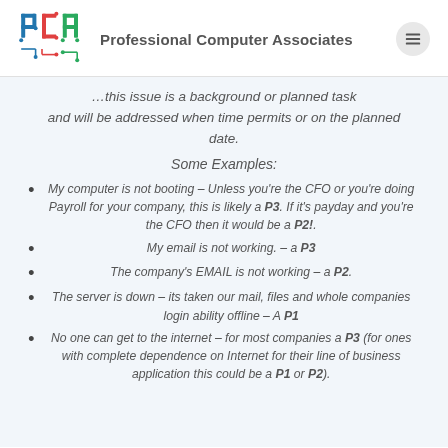[Figure (logo): PCA logo with colorful P, C, A letters in circuit-board style, followed by company name 'Professional Computer Associates']
and will be addressed when time permits or on the planned date.
Some Examples:
My computer is not booting – Unless you're the CFO or you're doing Payroll for your company, this is likely a P3. If it's payday and you're the CFO then it would be a P2!.
My email is not working. – a P3
The company's EMAIL is not working – a P2.
The server is down – its taken our mail, files and whole companies login ability offline – A P1
No one can get to the internet – for most companies a P3 (for ones with complete dependence on Internet for their line of business application this could be a P1 or P2).